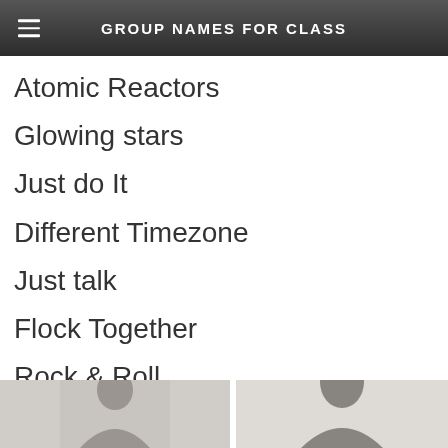GROUP NAMES FOR CLASS
Atomic Reactors
Glowing stars
Just do It
Different Timezone
Just talk
Flock Together
Rock & Roll
The Foodies
[Figure (photo): Partial view of a photo strip showing two images of people, cropped at bottom of page]